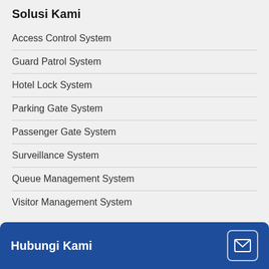Solusi Kami
Access Control System
Guard Patrol System
Hotel Lock System
Parking Gate System
Passenger Gate System
Surveillance System
Queue Management System
Visitor Management System
Hubungi Kami